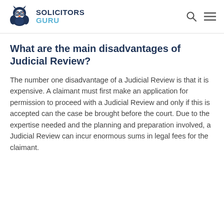SOLICITORS GURU
What are the main disadvantages of Judicial Review?
The number one disadvantage of a Judicial Review is that it is expensive.  A claimant must first make an application for permission to proceed with a Judicial Review and only if this is accepted can the case be brought before the court.  Due to the expertise needed and the planning and preparation involved, a Judicial Review can incur enormous sums in legal fees for the claimant.